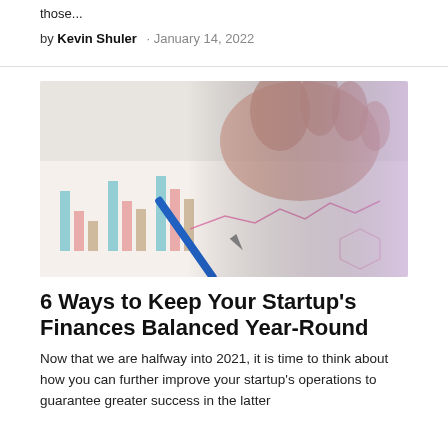those...
by Kevin Shuler · January 14, 2022
[Figure (photo): A hand holding a blue pen pointing at financial charts and graphs on paper, with bar charts visible on the left and line graphs on the right, tinted with a purple/pink gradient on the right side.]
6 Ways to Keep Your Startup's Finances Balanced Year-Round
Now that we are halfway into 2021, it is time to think about how you can further improve your startup's operations to guarantee greater success in the latter